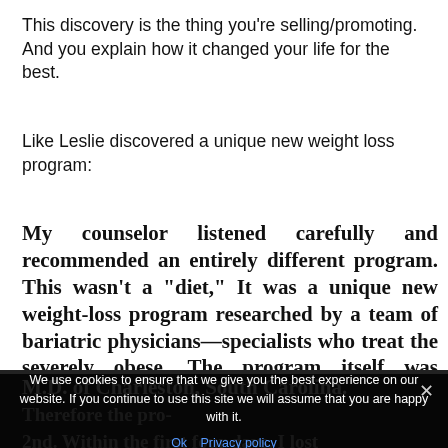This discovery is the thing you're selling/promoting. And you explain how it changed your life for the best.
Like Leslie discovered a unique new weight loss program:
My counselor listened carefully and recommended an entirely different program. This wasn't a "diet," It was a unique new weight-loss program researched by a team of bariatric physicians—specialists who treat the severely obese. The program itself was developed by Robert Johnson,
M.D. of Charleston, South Carolina.
2nd. Within the first four days, I lost only three pounds. So I was disappointed. But during the three weeks that follow...
We use cookies to ensure that we give you the best experience on our website. If you continue to use this site we will assume that you are happy with it.